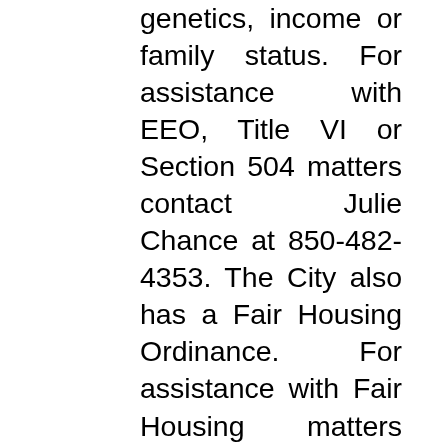genetics, income or family status. For assistance with EEO, Title VI or Section 504 matters contact Julie Chance at 850-482-4353. The City also has a Fair Housing Ordinance. For assistance with Fair Housing matters contact Kay Dennis at 850-482-2786. In accordance with the Americans with Disabilities Act, persons needing a special accommodation to participate in this meeting should contact the City Clerk's Office at 850-482-4353 no later than 3 days prior to the meeting. City Hall is located at 2898 Green Street, Marianna, FL.